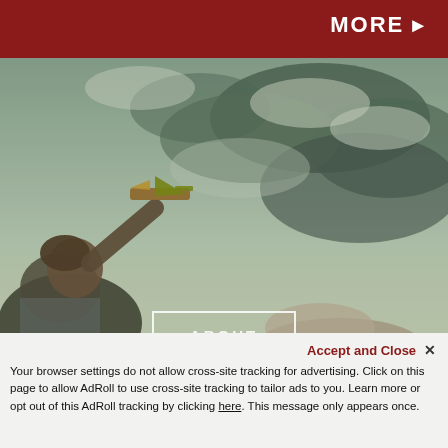MORE ▶
[Figure (photo): Retro-toned vintage photograph of a child holding up a toy wooden airplane toward a dramatic cloudy sky, with another child visible in the lower right. Warm sepia-green color grading.]
ABOUT
Accept and Close ✕
Your browser settings do not allow cross-site tracking for advertising. Click on this page to allow AdRoll to use cross-site tracking to tailor ads to you. Learn more or opt out of this AdRoll tracking by clicking here. This message only appears once.